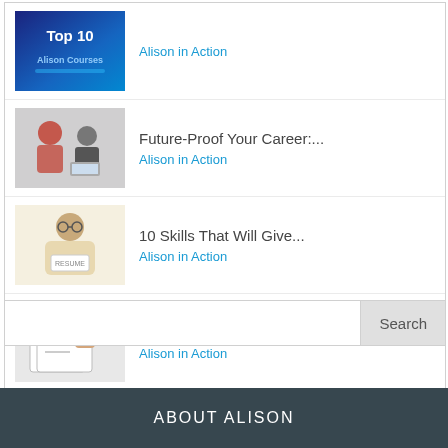Alison in Action
Future-Proof Your Career:...
Alison in Action
10 Skills That Will Give...
Alison in Action
How to Create a Winning R...
Alison in Action
Top 4 Easy-to-Start Hobbi...
Alison in Action
Search
ABOUT ALISON